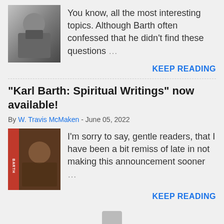[Figure (photo): Black and white photo of a man reading a book, likely Karl Barth]
You know, all the most interesting topics. Although Barth often confessed that he didn't find these questions …
KEEP READING
"Karl Barth: Spiritual Writings" now available!
By W. Travis McMaken - June 05, 2022
[Figure (photo): Color photo of a man with a red Barth book spine visible]
I'm sorry to say, gentle readers, that I have been a bit remiss of late in not making this announcement sooner …
KEEP READING